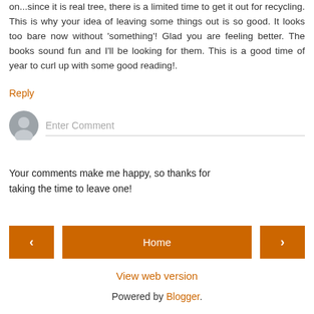on...since it is real tree, there is a limited time to get it out for recycling. This is why your idea of leaving some things out is so good. It looks too bare now without 'something'! Glad you are feeling better. The books sound fun and I'll be looking for them. This is a good time of year to curl up with some good reading!.
Reply
Enter Comment
Your comments make me happy, so thanks for taking the time to leave one!
Home
View web version
Powered by Blogger.